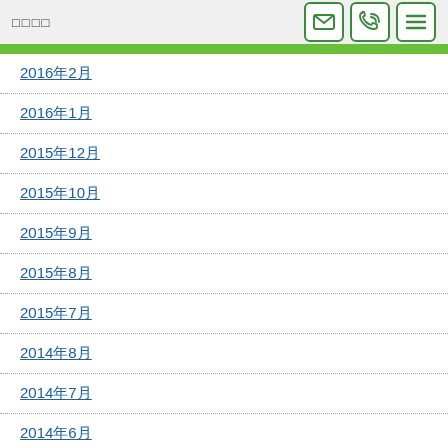□□□□
2016年2月
2016年1月
2015年12月
2015年10月
2015年9月
2015年8月
2015年7月
2014年8月
2014年7月
2014年6月
2014年5月
2014年4月